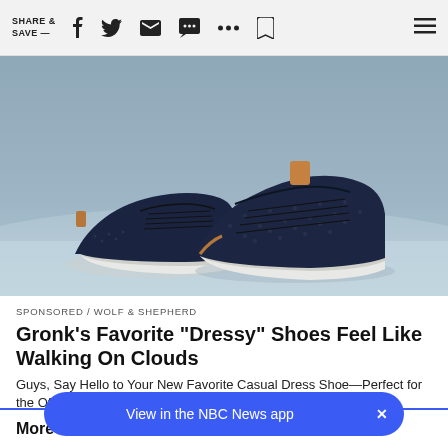SHARE & SAVE —
[Figure (photo): Two dark navy blue knit casual dress shoes with white soles and tan leather accents, displayed on a light blue/grey surface background.]
SPONSORED / WOLF & SHEPHERD
Gronk's Favorite "Dressy" Shoes Feel Like Walking On Clouds
Guys, Say Hello to Your New Favorite Casual Dress Shoe—Perfect for the Office
More Fr
View in the NBC News app